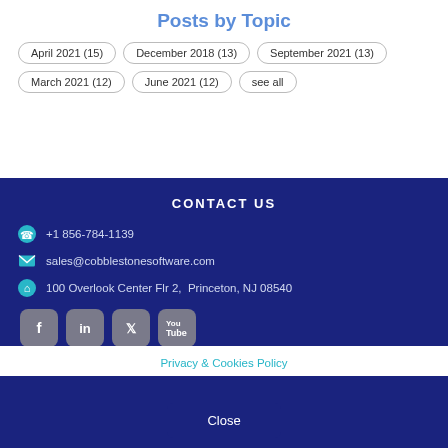Posts by Topic
April 2021 (15)
December 2018 (13)
September 2021 (13)
March 2021 (12)
June 2021 (12)
see all
CONTACT US
+1 856-784-1139
sales@cobblestonesoftware.com
100 Overlook Center Flr 2,  Princeton, NJ 08540
[Figure (illustration): Social media icons: Facebook, LinkedIn, Twitter, YouTube]
Privacy & Cookies Policy
Close